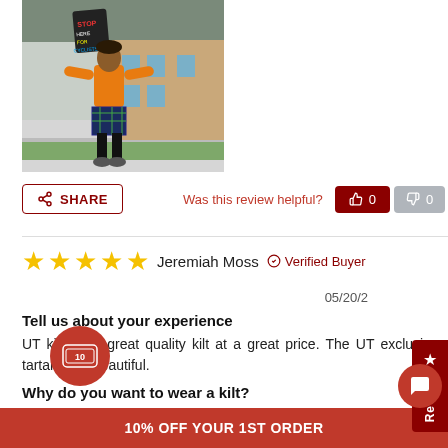[Figure (photo): Person wearing orange hoodie and plaid kilt, standing on sidewalk holding a sign. School crossing guard style setting.]
SHARE
Was this review helpful?
0
Jeremiah Moss   Verified Buyer   05/20/2...
Tell us about your experience
UT kilts is a great quality kilt at a great price. The UT exclusive tartans are beautiful.
Why do you want to wear a kilt?
Better Air Flow, Pure Freedom, Get more attention from the ladies, It is just way more comfortable than pants
10% OFF YOUR 1ST ORDER